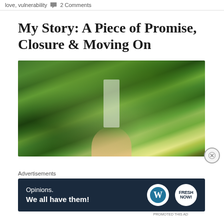love, vulnerability  💬 2 Comments
My Story: A Piece of Promise, Closure & Moving On
[Figure (photo): Photo of a person with blonde hair standing in a lush green garden with heavy vine foliage and a white building visible in the background]
Advertisements
[Figure (other): WordPress advertisement banner with dark navy background reading 'Opinions. We all have them!' with WordPress logo and a second circular logo on the right]